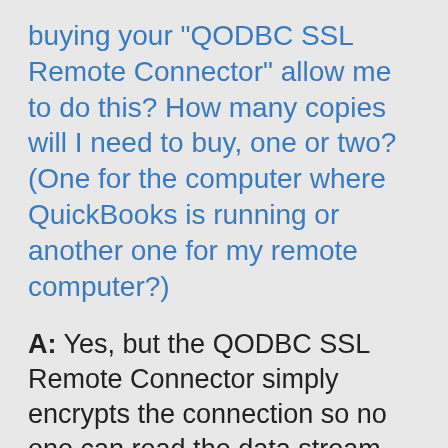buying your "QODBC SSL Remote Connector" allow me to do this? How many copies will I need to buy, one or two? (One for the computer where QuickBooks is running or another one for my remote computer?)
A: Yes, but the QODBC SSL Remote Connector simply encrypts the connection so no one can read the data stream between the two computers. QODBC communicates with QuickBooks which in turn talks to the actual companyfile.qbw file. QODBC doesn't read the